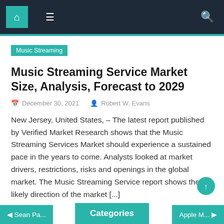Navigation bar with home, menu, and search icons
Music Streaming
Music Streaming Service Market Size, Analysis, Forecast to 2029
December 30, 2021   Robert W. Evans
New Jersey, United States, – The latest report published by Verified Market Research shows that the Music Streaming Services Market should experience a sustained pace in the years to come. Analysts looked at market drivers, restrictions, risks and openings in the global market. The Music Streaming Service report shows the likely direction of the market [...]
◄ Sean Pa...   Categories   Apple M... ►